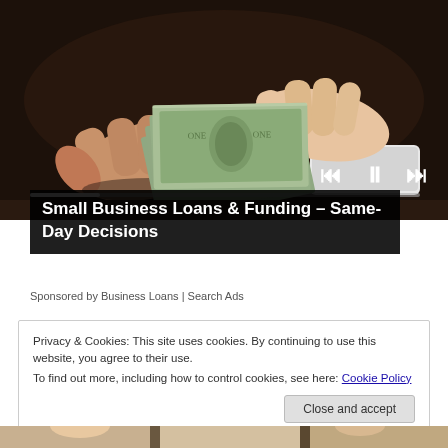[Figure (photo): Two hands exchanging a stack of US dollar bills, shown in close-up against a dark background. Video player controls (skip-back, pause, skip-forward) are visible at lower right. A progress bar runs across the bottom of the video frame.]
Small Business Loans & Funding – Same-Day Decisions
Sponsored by Business Loans | Search Ads
Privacy & Cookies: This site uses cookies. By continuing to use this website, you agree to their use.
To find out more, including how to control cookies, see here: Cookie Policy
Close and accept
[Figure (photo): Bottom strip showing a partial image — appears to be people in business attire, cropped at the very bottom of the page.]